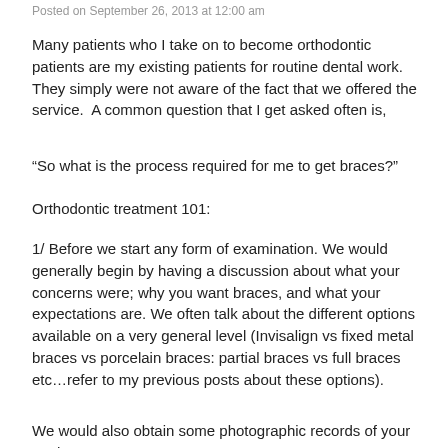Posted on September 26, 2013 at 12:00 am
Many patients who I take on to become orthodontic patients are my existing patients for routine dental work. They simply were not aware of the fact that we offered the service.  A common question that I get asked often is,
“So what is the process required for me to get braces?”
Orthodontic treatment 101:
1/ Before we start any form of examination. We would generally begin by having a discussion about what your concerns were; why you want braces, and what your expectations are. We often talk about the different options available on a very general level (Invisalign vs fixed metal braces vs porcelain braces: partial braces vs full braces etc…refer to my previous posts about these options).
We would also obtain some photographic records of your teeth